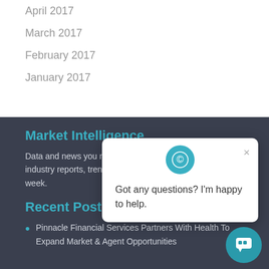April 2017
March 2017
February 2017
January 2017
Market Intelligence
Data and news you need to succeed. Keep up to date with industry reports, trends and news delivered to you each week.
Recent Posts
Pinnacle Financial Services Partners With Health To Expand Market & Agent Opportunities